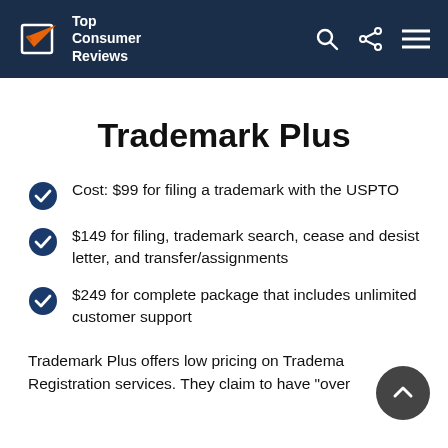Top Consumer Reviews
Trademark Plus
Cost: $99 for filing a trademark with the USPTO
$149 for filing, trademark search, cease and desist letter, and transfer/assignments
$249 for complete package that includes unlimited customer support
Trademark Plus offers low pricing on Trademark Registration services. They claim to have "over